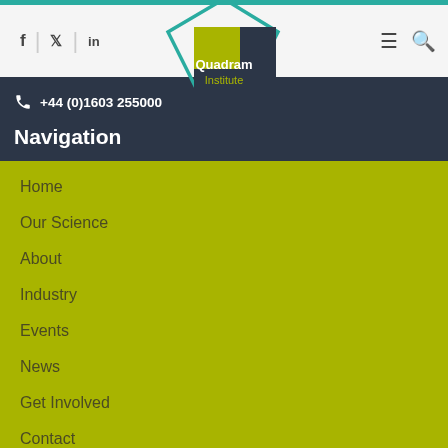f | twitter | in | [hamburger] [search]
[Figure (logo): Quadram Institute logo with teal diamond outline and dark navy square with yellow-green square, text: Quadram Institute]
+44 (0)1603 255000
Navigation
Home
Our Science
About
Industry
Events
News
Get Involved
Contact
People
Vacancies